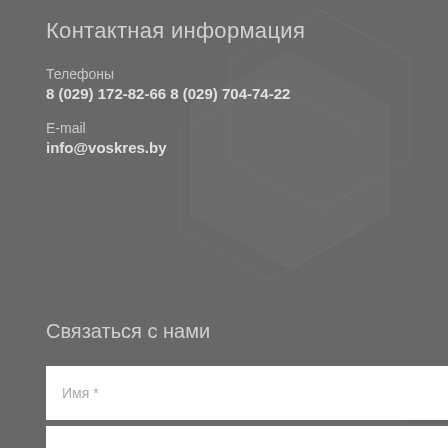Контактная информация
Телефоны
8 (029) 172-82-66 8 (029) 704-74-22
E-mail
info@voskres.by
Связаться с нами
Имя *
Ваша почта *
Сообщение